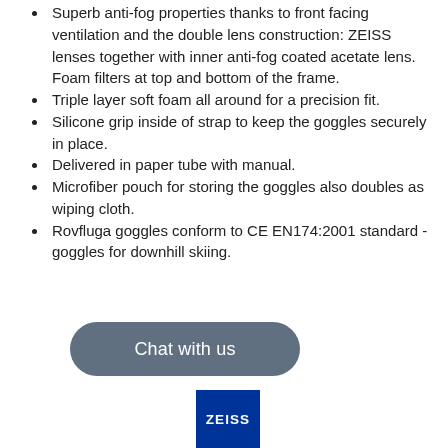Superb anti-fog properties thanks to front facing ventilation and the double lens construction: ZEISS lenses together with inner anti-fog coated acetate lens. Foam filters at top and bottom of the frame.
Triple layer soft foam all around for a precision fit.
Silicone grip inside of strap to keep the goggles securely in place.
Delivered in paper tube with manual.
Microfiber pouch for storing the goggles also doubles as wiping cloth.
Rovfluga goggles conform to CE EN174:2001 standard - goggles for downhill skiing.
[Figure (other): Chat with us button - rounded rectangle button with grey-blue background and white text]
[Figure (logo): ZEISS logo - white text on blue background]